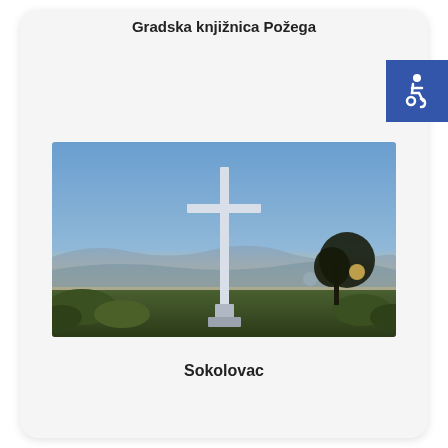Gradska knjižnica Požega
[Figure (photo): A tall white cross on a hilltop at sunset, with a tree silhouetted against glowing sky and a panoramic valley view in background.]
Sokolovac